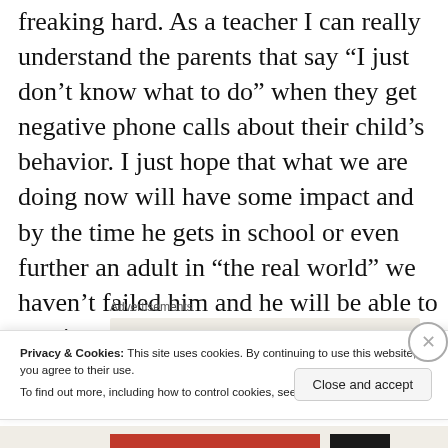freaking hard. As a teacher I can really understand the parents that say “I just don’t know what to do” when they get negative phone calls about their child’s behavior. I just hope that what we are doing now will have some impact and by the time he gets in school or even further an adult in “the real world” we haven’t failed him and he will be able to survive as a good, contributing citizen.
Advertisements
Privacy & Cookies: This site uses cookies. By continuing to use this website, you agree to their use.
To find out more, including how to control cookies, see here: Cookie Policy